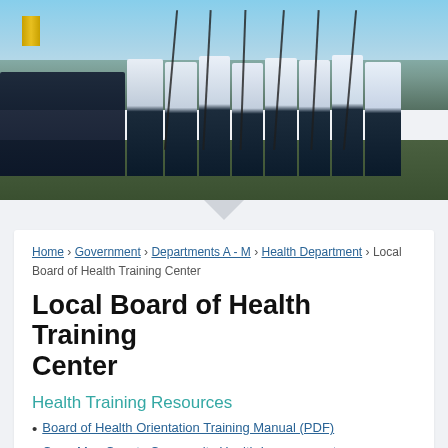[Figure (photo): Color photo of Coast Guard or military personnel in white dress uniforms and dark trousers, carrying rifles, marching in formation outdoors. Additional personnel in darker uniforms visible in background.]
Home › Government › Departments A - M › Health Department › Local Board of Health Training Center
Local Board of Health Training Center
Health Training Resources
Board of Health Orientation Training Manual (PDF)
Cape May County Community Health Improvement Plan 2020